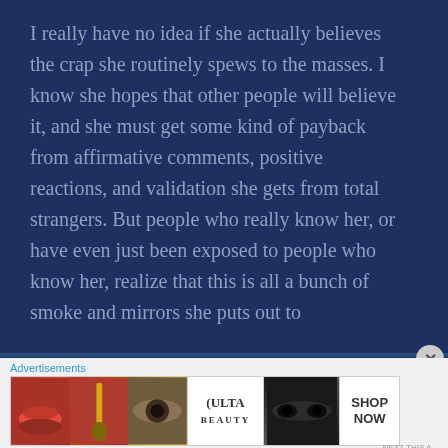I really have no idea if she actually believes the crap she routinely spews to the masses. I know she hopes that other people will believe it, and she must get some kind of payback from affirmative comments, positive reactions, and validation she gets from total strangers. But people who really know her, or have even just been exposed to people who know her, realize that this is all a bunch of smoke and mirrors she puts out to
Advertisements
[Figure (photo): Advertisement banner showing beauty product images: close-up of lips with lipstick, makeup brush, eye with makeup, Ulta Beauty logo, dramatic eye makeup, and SHOP NOW text button]